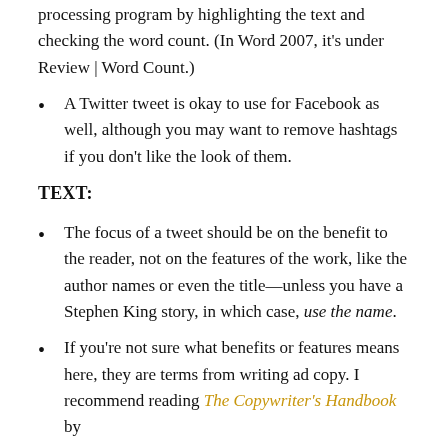processing program by highlighting the text and checking the word count. (In Word 2007, it's under Review | Word Count.)
A Twitter tweet is okay to use for Facebook as well, although you may want to remove hashtags if you don't like the look of them.
TEXT:
The focus of a tweet should be on the benefit to the reader, not on the features of the work, like the author names or even the title—unless you have a Stephen King story, in which case, use the name.
If you're not sure what benefits or features means here, they are terms from writing ad copy. I recommend reading The Copywriter's Handbook by